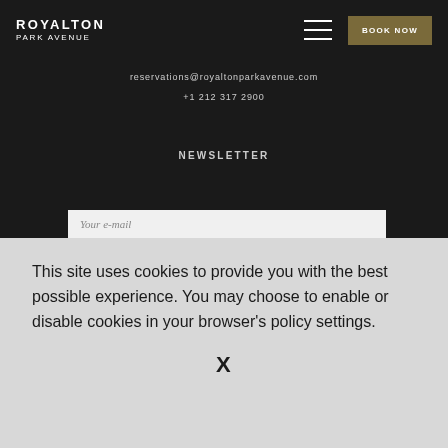ROYALTON PARK AVENUE
reservations@royaltonparkavenue.com
+1 212 317 2900
NEWSLETTER
Your e-mail
This site uses cookies to provide you with the best possible experience. You may choose to enable or disable cookies in your browser's policy settings.
X
© 2022 Royalton Park Avenue